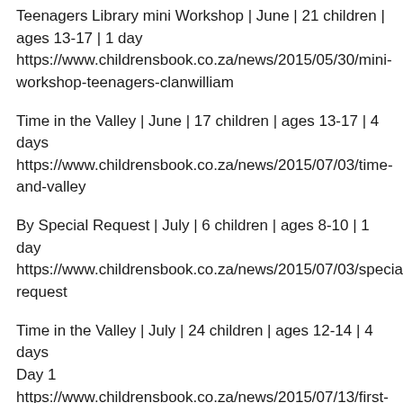Teenagers Library mini Workshop | June | 21 children | ages 13-17 | 1 day https://www.childrensbook.co.za/news/2015/05/30/mini-workshop-teenagers-clanwilliam
Time in the Valley | June | 17 children | ages 13-17 | 4 days https://www.childrensbook.co.za/news/2015/07/03/time-and-valley
By Special Request | July | 6 children | ages 8-10 | 1 day https://www.childrensbook.co.za/news/2015/07/03/special-request
Time in the Valley | July | 24 children | ages 12-14 | 4 days Day 1 https://www.childrensbook.co.za/news/2015/07/13/first-